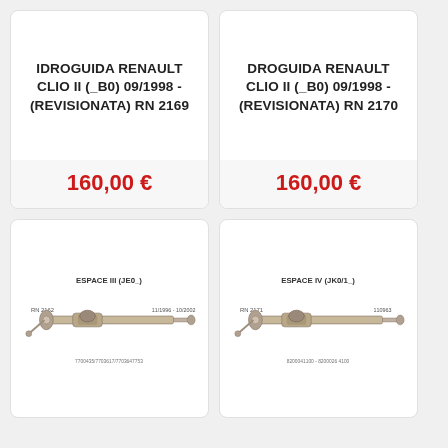IDROGUIDA RENAULT CLIO II (_B0) 09/1998 - (REVISIONATA) RN 2169
160,00 €
DROGUIDA RENAULT CLIO II (_B0) 09/1998 - (REVISIONATA) RN 2170
160,00 €
[Figure (photo): Technical diagram of a steering rack labeled ESPACE III (JE0_), RN 2162, with date range 11/1996 - 10/2002]
[Figure (photo): Technical diagram of a steering rack labeled ESPACE IV (JK0/1_), RN 2171]